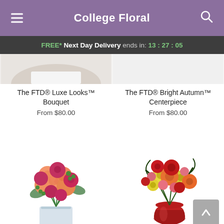College Floral
FREE* Next Day Delivery ends in: 13:27:05
[Figure (photo): Partial image of FTD Luxe Looks Bouquet at top]
The FTD® Luxe Looks™ Bouquet
From $80.00
[Figure (photo): Partial image of FTD Bright Autumn Centerpiece at top]
The FTD® Bright Autumn™ Centerpiece
From $80.00
[Figure (photo): FTD Luxe Looks Bouquet - pink and orange roses in a square glass vase]
[Figure (photo): FTD Bright Autumn Centerpiece - multicolor autumn flowers in a red vase]